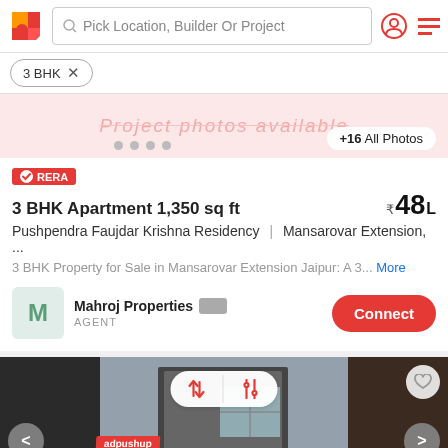[Figure (screenshot): App navigation bar with logo, search bar 'Pick Location, Builder Or Project', user icon, and hamburger menu]
3 BHK ×
[Figure (photo): Project photos available placeholder with pink background, dots navigation, and +16 All Photos button]
RERA
3 BHK Apartment 1,350 sq ft
₹48 L
Pushpendra Faujdar Krishna Residency | Mansarovar Extension, ...
3 BHK Property for Sale in Mansarovar Extension Jaipur: A 3... More
Mahroj Properties AGENT
[Figure (photo): Interior room photo with sort and filter buttons overlay, adpushup label, heart icon, and navigation arrows]